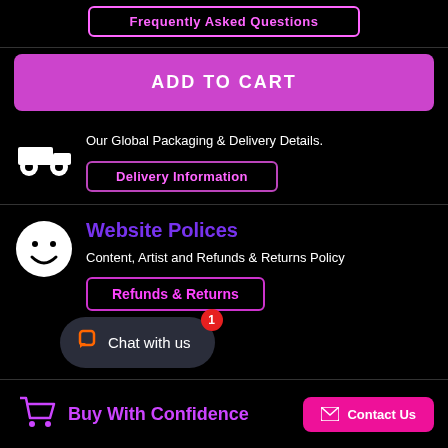Frequently Asked Questions
ADD TO CART
Our Global Packaging & Delivery Details.
Delivery Information
Website Polices
Content, Artist and Refunds & Returns Policy
Refunds & Returns
Chat with us
Buy With Confidence
Contact Us